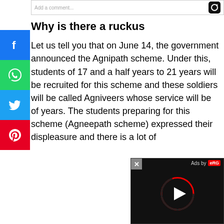Add a comment...
Why is there a ruckus
Let us tell you that on June 14, the government announced the Agnipath scheme. Under this, students of 17 and a half years to 21 years will be recruited for this scheme and these soldiers will be called Agniveers whose service will be of years. The students preparing for this scheme (Agneepath scheme) expressed their displeasure and there is a lot of